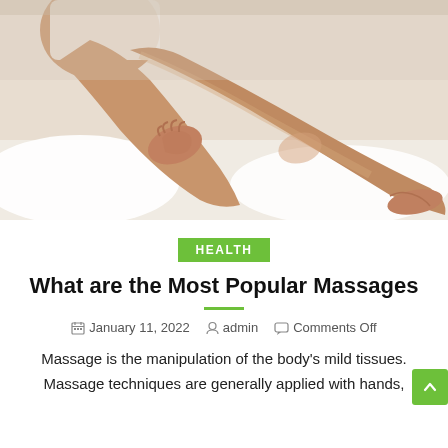[Figure (photo): Woman sitting on white bed sheets, touching her smooth legs, wearing a white top. Close-up showing legs and hands.]
HEALTH
What are the Most Popular Massages
January 11, 2022  admin  Comments Off
Massage is the manipulation of the body's mild tissues. Massage techniques are generally applied with hands,